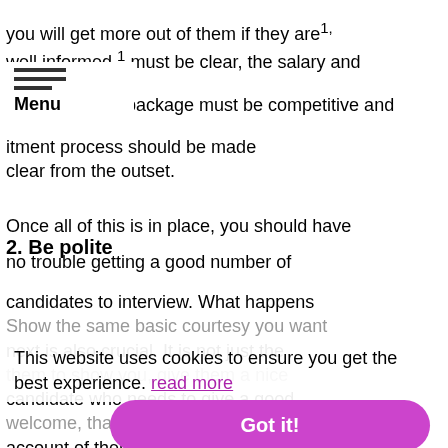you will get more out of them if they are well informed. [the job description] must be clear, the salary and package must be competitive and [the] recruitment process should be made clear from the outset.
[Figure (other): Hamburger menu icon with three horizontal lines and 'Menu' label below]
Once all of this is in place, you should have no trouble getting a good number of candidates to interview. What happens next is also crucial. It is not just the candidate who needs to give a good account of themselves at the first meeting. You need to work harder than ever at selling the role and the agency you have chosen.
2. Be polite
Show the same basic courtesy you want them to show you, give them a nice welcome, thank them for coming, maintain eye contact and most importantly - leave your phone behind. No power games with the candidate and keep yourself in the driving seat with the best ones often receiving multiple offers - as well as counters from their existing
2. Be polite
This website uses cookies to ensure you get the best experience. read more
Got it!